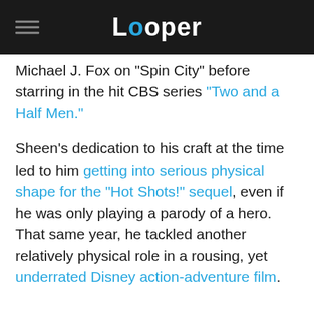Looper
Michael J. Fox on "Spin City" before starring in the hit CBS series "Two and a Half Men."
Sheen's dedication to his craft at the time led to him getting into serious physical shape for the "Hot Shots!" sequel, even if he was only playing a parody of a hero. That same year, he tackled another relatively physical role in a rousing, yet underrated Disney action-adventure film.